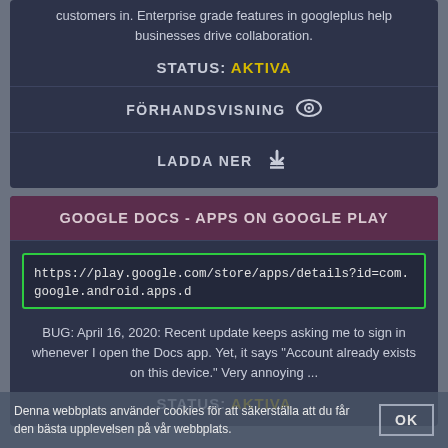customers in. Enterprise grade features in googleplus help businesses drive collaboration.
STATUS: AKTIVA
FÖRHANDSVISNING
LADDA NER
GOOGLE DOCS - APPS ON GOOGLE PLAY
https://play.google.com/store/apps/details?id=com.google.android.apps.d
BUG: April 16, 2020: Recent update keeps asking me to sign in whenever I open the Docs app. Yet, it says "Account already exists on this device." Very annoying ...
STATUS: AKTIVA
Denna webbplats använder cookies för att säkerställa att du får den bästa upplevelsen på vår webbplats.